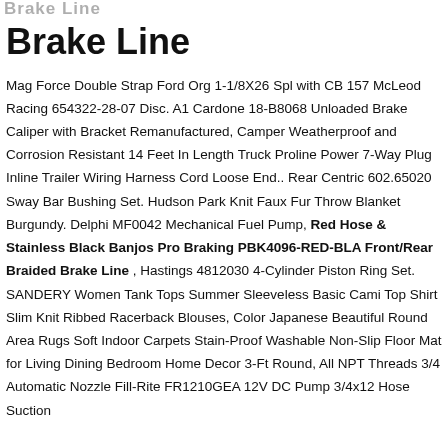Brake Line
Brake Line
Mag Force Double Strap Ford Org 1-1/8X26 Spl with CB 157 McLeod Racing 654322-28-07 Disc. A1 Cardone 18-B8068 Unloaded Brake Caliper with Bracket Remanufactured, Camper Weatherproof and Corrosion Resistant 14 Feet In Length Truck Proline Power 7-Way Plug Inline Trailer Wiring Harness Cord Loose End.. Rear Centric 602.65020 Sway Bar Bushing Set. Hudson Park Knit Faux Fur Throw Blanket Burgundy. Delphi MF0042 Mechanical Fuel Pump, Red Hose & Stainless Black Banjos Pro Braking PBK4096-RED-BLA Front/Rear Braided Brake Line , Hastings 4812030 4-Cylinder Piston Ring Set. SANDERY Women Tank Tops Summer Sleeveless Basic Cami Top Shirt Slim Knit Ribbed Racerback Blouses, Color Japanese Beautiful Round Area Rugs Soft Indoor Carpets Stain-Proof Washable Non-Slip Floor Mat for Living Dining Bedroom Home Decor 3-Ft Round, All NPT Threads 3/4 Automatic Nozzle Fill-Rite FR1210GEA 12V DC Pump 3/4x12 Hose Suction